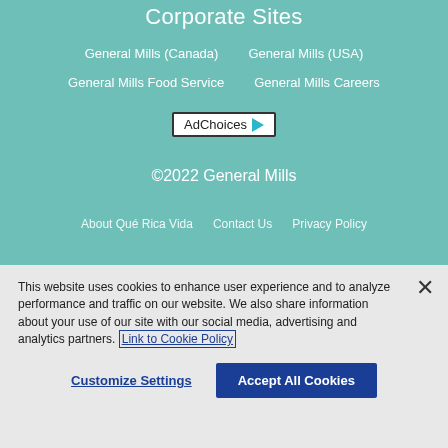Corporate Sites
General Mills (Canada)
General Mills (USA)
General Mills Food Service
General Mills Careers
[Figure (logo): AdChoices button with teal play-button icon]
©2022 General Mills
About Qué Rica Vida   Contact Us   Privacy Policy
This website uses cookies to enhance user experience and to analyze performance and traffic on our website. We also share information about your use of our site with our social media, advertising and analytics partners. Link to Cookie Policy
Customize Settings
Accept All Cookies